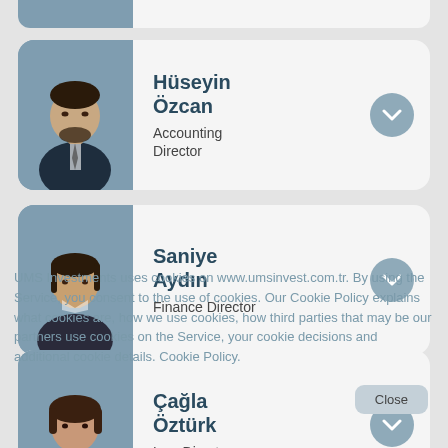[Figure (organizational-chart): Staff profile cards for UMS Investment company personnel showing photos and titles]
Hüseyin Özcan
Accounting Director
Saniye Aydın
Finance Director
Çağla Öztürk
Law Director
UMS Investments uses cookies on www.umsinvest.com.tr. By using the Service, you consent to the use of cookies. Our Cookie Policy explains what cookies are, how we use cookies, how third parties that may be our partners use cookies on the Service, your cookie decisions and additional cookie details. Cookie Policy.